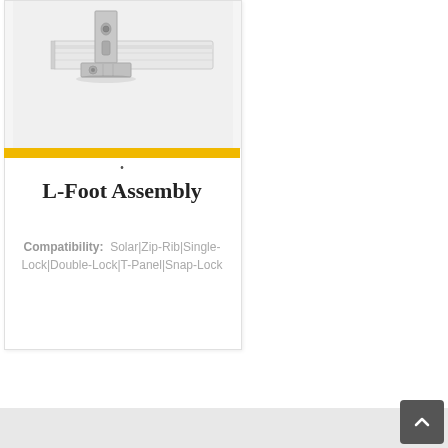[Figure (photo): L-Foot Assembly hardware component — an L-shaped metal bracket (aluminum) mounted to a solar rail, shown from front-left angle. The bracket has a vertical flange with bolt holes and a horizontal base plate, attached to a white metal rail/profile.]
L-Foot Assembly
Compatibility: Solar|Zip-Rib|Single-Lock|Double-Lock|T-Panel|Snap-Lock